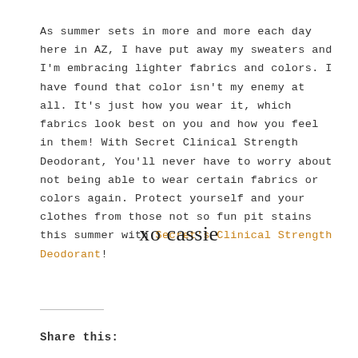As summer sets in more and more each day here in AZ, I have put away my sweaters and I'm embracing lighter fabrics and colors. I have found that color isn't my enemy at all. It's just how you wear it, which fabrics look best on you and how you feel in them! With Secret Clinical Strength Deodorant, You'll never have to worry about not being able to wear certain fabrics or colors again. Protect yourself and your clothes from those not so fun pit stains this summer with Secret's Clinical Strength Deodorant!
[Figure (illustration): Handwritten signature reading 'xo cassie']
Share this: